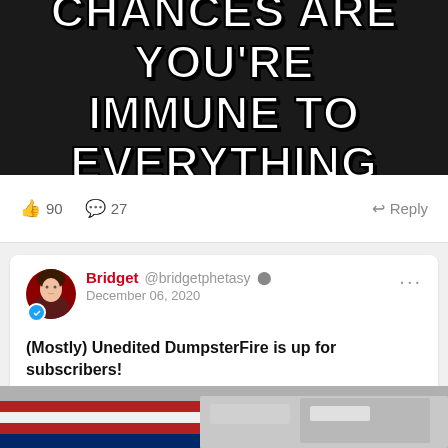[Figure (photo): Meme image with dark background and bold white text reading CHANCES ARE YOU'RE IMMUNE TO EVERYTHING]
👍 90   💬 27   ↩ Reply
Bridget @bridgetphetasy ✓  December 06, 2020

(Mostly) Unedited DumpsterFire is up for subscribers!

https://phetasy.com/upost/268364/dumpster-fire-42-mostly-unedited-version
[Figure (photo): Bottom portion of an image showing an American flag and other objects]